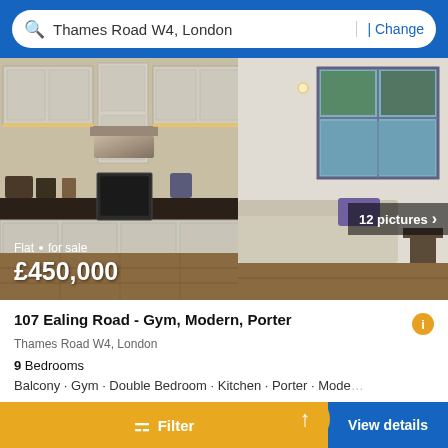Thames Road W4, London | Change
[Figure (photo): Interior photo of a modern flat showing an open-plan kitchen with grey cabinets, stainless steel extractor hood, dark worktops, and an oven, opening into a living area with a sofa and large windows. Overlay shows 'Flat · for sale £450,000' and '12 pictures ›'.]
107 Ealing Road - Gym, Modern, Porter
Thames Road W4, London
9 Bedrooms
Balcony · Gym · Double Bedroom · Kitchen · Porter · Mode...
First seen over a month ago on PropertyMutual